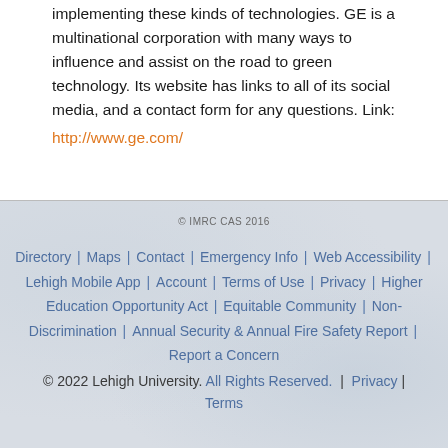implementing these kinds of technologies. GE is a multinational corporation with many ways to influence and assist on the road to green technology. Its website has links to all of its social media, and a contact form for any questions. Link: http://www.ge.com/
© IMRC CAS 2016
Directory | Maps | Contact | Emergency Info | Web Accessibility | Lehigh Mobile App | Account | Terms of Use | Privacy | Higher Education Opportunity Act | Equitable Community | Non-Discrimination | Annual Security & Annual Fire Safety Report | Report a Concern
© 2022 Lehigh University. All Rights Reserved. | Privacy | Terms